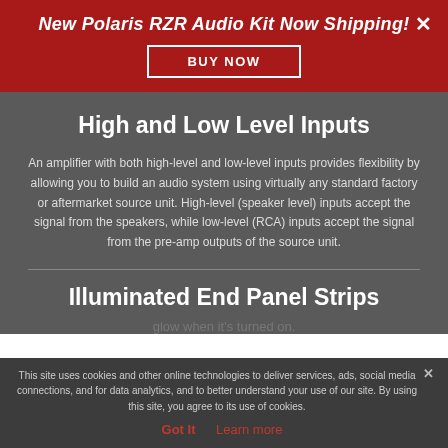New Polaris RZR Audio Kit Now Shipping!
High and Low Level Inputs
An amplifier with both high-level and low-level inputs provides flexibility by allowing you to build an audio system using virtually any standard factory or aftermarket source unit. High-level (speaker level) inputs accept the signal from the speakers, while low-level (RCA) inputs accept the signal from the pre-amp outputs of the source unit.
Illuminated End Panel Strips
glow when it's turned on.
This site uses cookies and other online technologies to deliver services, ads, social media connections, and for data analytics, and to better understand your use of our site. By using this site, you agree to its use of cookies. Got It  Learn more